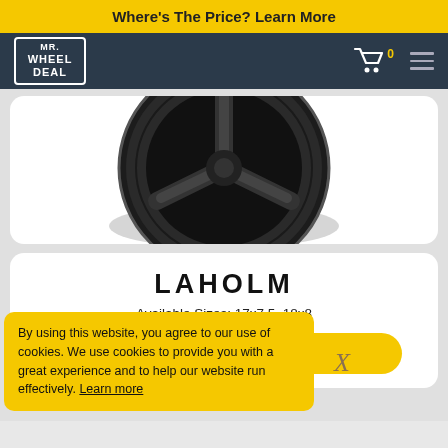Where's The Price? Learn More
[Figure (logo): Mr. Wheel Deal logo in white on dark navy header with shopping cart icon showing 0 items and hamburger menu]
[Figure (photo): Black alloy wheel/rim shown at an angle on white background, partial view]
LAHOLM
Available Sizes: 17x7.5, 18x8
VIEW LAHOLM
By using this website, you agree to our use of cookies. We use cookies to provide you with a great experience and to help our website run effectively. Learn more